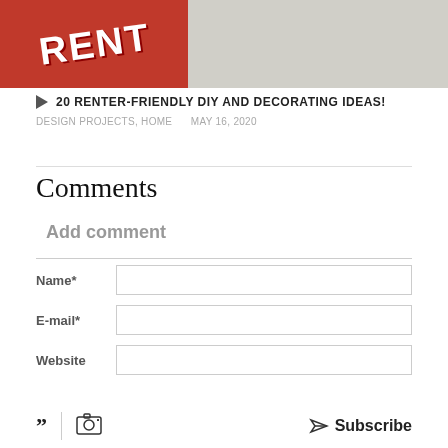[Figure (photo): Partial view of a red 'FOR RENT' sign on the left and a person on a bed on the right, cropped at top]
20 RENTER-FRIENDLY DIY AND DECORATING IDEAS!
DESIGN PROJECTS, HOME    MAY 16, 2020
Comments
Add comment
Name*
E-mail*
Website
Subscribe